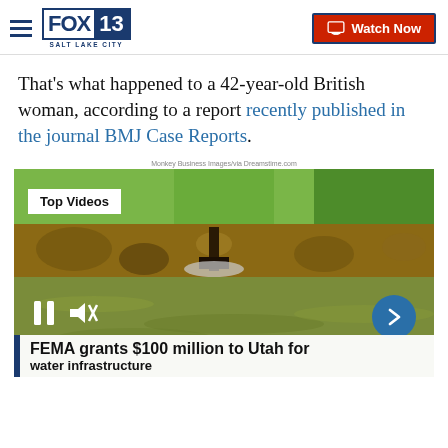FOX 13 SALT LAKE CITY | Watch Now
That’s what happened to a 42-year-old British woman, according to a report recently published in the journal BMJ Case Reports.
Monkey Business Images/via Dreamstime.com
[Figure (screenshot): Video player showing a river scene with rocks and grass. Overlays include a 'Top Videos' label, pause and mute controls, a blue arrow-next button, and a breaking news ticker reading 'FEMA grants $100 million to Utah for water infrastructure'.]